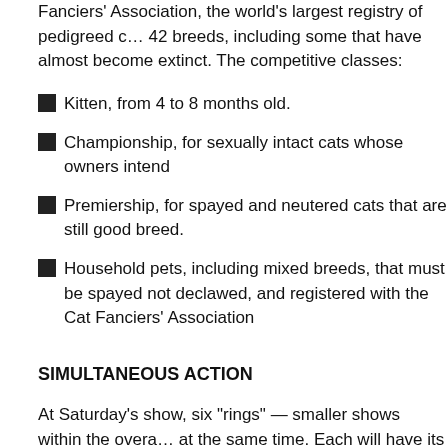Fanciers' Association, the world's largest registry of pedigreed cats, recognizes 42 breeds, including some that have almost become extinct. The competitive classes:
Kitten, from 4 to 8 months old.
Championship, for sexually intact cats whose owners intend
Premiership, for spayed and neutered cats that are still good breed.
Household pets, including mixed breeds, that must be spayed not declawed, and registered with the Cat Fanciers' Association
SIMULTANEOUS ACTION
At Saturday's show, six "rings" — smaller shows within the overall at the same time. Each will have its own trained judge, who also breeder.
Spectators will find two kinds of rings. "All Breed" rings admit all association, recognized breeds, among them Abyssinian, Burma